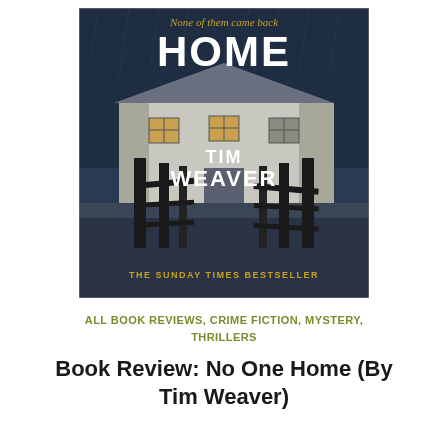[Figure (illustration): Book cover for 'Home' by Tim Weaver. Dark moody image of a rural house at night/rain with a wooden farm gate in the foreground. Text on cover: 'None of them came back' at top in yellow, 'HOME' in large white letters, 'TIM WEAVER' in large white letters, 'THE SUNDAY TIMES BESTSELLER' in golden/yellow letters at bottom.]
ALL BOOK REVIEWS, CRIME FICTION, MYSTERY, THRILLERS
Book Review: No One Home (By Tim Weaver)